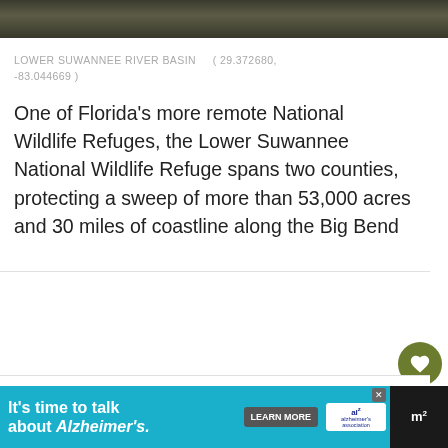[Figure (photo): Dark grassy/reedy landscape photo strip at top of page]
LOWER SUWANNEE RIVER BASIN     ( 29.372680, -83.044669 )
One of Florida’s more remote National Wildlife Refuges, the Lower Suwannee National Wildlife Refuge spans two counties, protecting a sweep of more than 53,000 acres and 30 miles of coastline along the Big Bend
River Trail
[Figure (infographic): Ad banner: It’s time to talk about Alzheimer’s. LEARN MORE button, Alzheimer’s Association logo, and dark panel on right with m² icon]